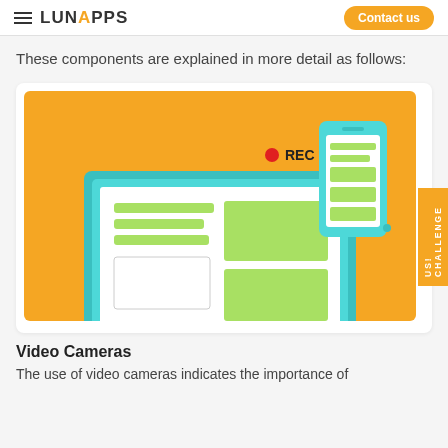≡ LUNAPPS  Contact us
These components are explained in more detail as follows:
[Figure (illustration): Illustration on orange background showing a laptop computer with green-framed screen displaying a website layout (text lines and image boxes in light green), and a smartphone overlapping in the upper right showing similar content. A red dot with 'REC' text appears in the upper center, indicating recording.]
Video Cameras
The use of video cameras indicates the importance of